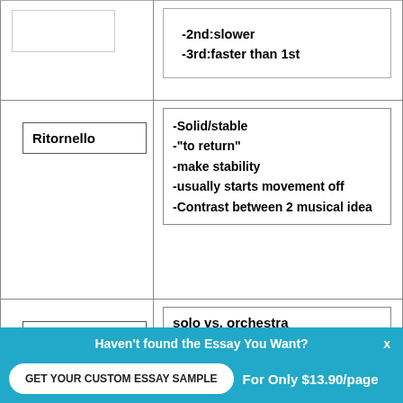| Term | Definition |
| --- | --- |
| (partial top row) | -2nd:slower
-3rd:faster than 1st |
| Ritornello | -Solid/stable
-"to return"
-make stability
-usually starts movement off
-Contrast between 2 musical ideas |
| Concerto | solo vs. orchestra |
| Concerto | many soloists vs. orchestra |
Haven't found the Essay You Want?
GET YOUR CUSTOM ESSAY SAMPLE
For Only $13.90/page